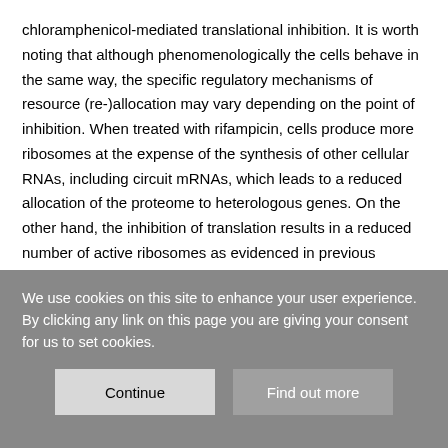chloramphenicol-mediated translational inhibition. It is worth noting that although phenomenologically the cells behave in the same way, the specific regulatory mechanisms of resource (re-)allocation may vary depending on the point of inhibition. When treated with rifampicin, cells produce more ribosomes at the expense of the synthesis of other cellular RNAs, including circuit mRNAs, which leads to a reduced allocation of the proteome to heterologous genes. On the other hand, the inhibition of translation results in a reduced number of active ribosomes as evidenced in previous reports conducting polysome profiling22,37. Those studies show that when the cells are cultured in the presence of Cm, they accumulate 70S monosomes, which
We use cookies on this site to enhance your user experience. By clicking any link on this page you are giving your consent for us to set cookies.